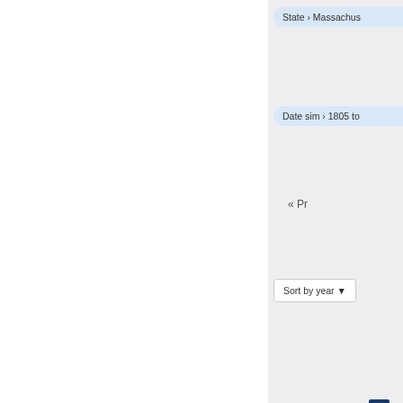State › Massachus
Date sim › 1805 to
« Pr
Sort by year ▼
1
1. Massachusetts 1802 Spe
Office:
Speaker of the House
Jurisdiction:
State
Year:
1802
State:
Massachus